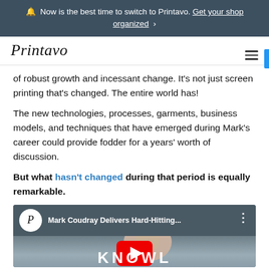🔔 Now is the best time to switch to Printavo. Get your shop organized ›
Printavo
of robust growth and incessant change. It's not just screen printing that's changed. The entire world has!
The new technologies, processes, garments, business models, and techniques that have emerged during Mark's career could provide fodder for a years' worth of discussion.
But what hasn't changed during that period is equally remarkable.
[Figure (screenshot): YouTube video thumbnail showing Mark Coudray with title 'Mark Coudray Delivers Hard-Hitting...' and a red play button overlay, with partial text 'KNOWL' at the bottom]